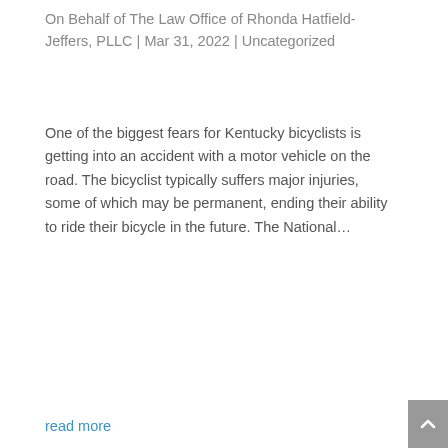On Behalf of The Law Office of Rhonda Hatfield-Jeffers, PLLC | Mar 31, 2022 | Uncategorized
One of the biggest fears for Kentucky bicyclists is getting into an accident with a motor vehicle on the road. The bicyclist typically suffers major injuries, some of which may be permanent, ending their ability to ride their bicycle in the future. The National…
read more
What might my car accident case be worth?
On Behalf of The Law Office of Rhonda